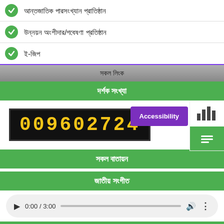আন্তজাতিক পারসংখ্যান প্রাতিষ্ঠান
উন্নয়ন অংশীদার/গবেষণা প্রতিষ্ঠান
ই-জিপ
সকল লিংক
দর্শক সংখ্যা
[Figure (other): Digital counter display showing 009602724 with Accessibility button and bar chart widget icon]
সকল বাতায়ন
জাতীয় সংগীত
[Figure (other): Audio player showing 0:00 / 3:00 with play button, progress bar, volume and more options]
জরির হটলাইন
[Figure (illustration): Partial illustration at bottom of page showing curved pink/magenta shape and vertical line element]